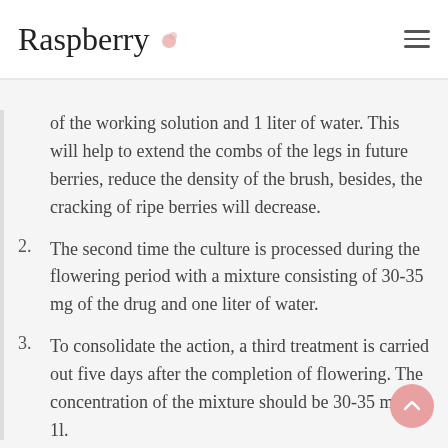Raspberry
of the working solution and 1 liter of water. This will help to extend the combs of the legs in future berries, reduce the density of the brush, besides, the cracking of ripe berries will decrease.
2. The second time the culture is processed during the flowering period with a mixture consisting of 30-35 mg of the drug and one liter of water.
3. To consolidate the action, a third treatment is carried out five days after the completion of flowering. The concentration of the mixture should be 30-35 mg / 1l.
For seedless grapes, a different scheme is used: